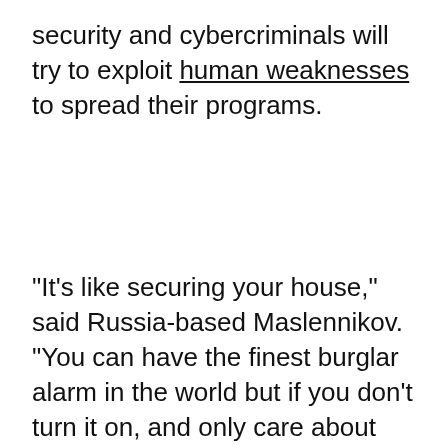security and cybercriminals will try to exploit human weaknesses to spread their programs.
"It's like securing your house," said Russia-based Maslennikov. "You can have the finest burglar alarm in the world but if you don't turn it on, and only care about hiding your expensive 'stuff', it offers no protection at all."